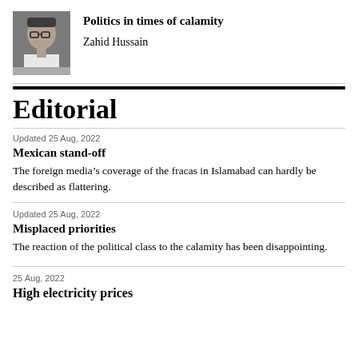Politics in times of calamity
Zahid Hussain
Editorial
Updated 25 Aug, 2022
Mexican stand-off
The foreign media's coverage of the fracas in Islamabad can hardly be described as flattering.
Updated 25 Aug, 2022
Misplaced priorities
The reaction of the political class to the calamity has been disappointing.
25 Aug, 2022
High electricity prices